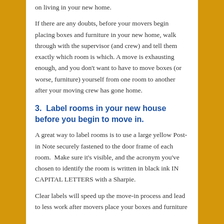on living in your new home.
If there are any doubts, before your movers begin placing boxes and furniture in your new home, walk through with the supervisor (and crew) and tell them exactly which room is which. A move is exhausting enough, and you don't want to have to move boxes (or worse, furniture) yourself from one room to another after your moving crew has gone home.
3.  Label rooms in your new house before you begin to move in.
A great way to label rooms is to use a large yellow Post-in Note securely fastened to the door frame of each room.  Make sure it's visible, and the acronym you've chosen to identify the room is written in black ink IN CAPITAL LETTERS with a Sharpie.
Clear labels will speed up the move-in process and lead to less work after movers place your boxes and furniture